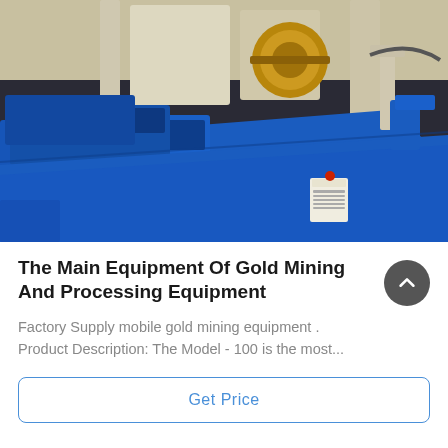[Figure (photo): Industrial gold mining equipment with blue-painted metal sluice/flotation machines in a factory setting. Blue rectangular tanks/troughs with mechanical components including rollers, pulleys, and belts are visible in the foreground and background.]
The Main Equipment Of Gold Mining And Processing Equipment
Factory Supply mobile gold mining equipment . Product Description: The Model - 100 is the most...
Get Price